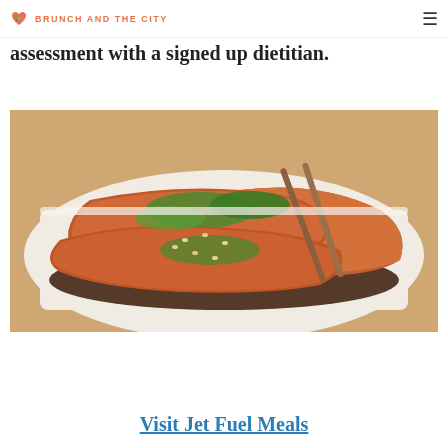BRUNCH AND THE CITY
assessment with a signed up dietitian.
[Figure (photo): Seared salmon fillets on a white plate with dark sauce, garnished with chopped green herbs and sesame seeds, chopsticks in background]
Visit Jet Fuel Meals